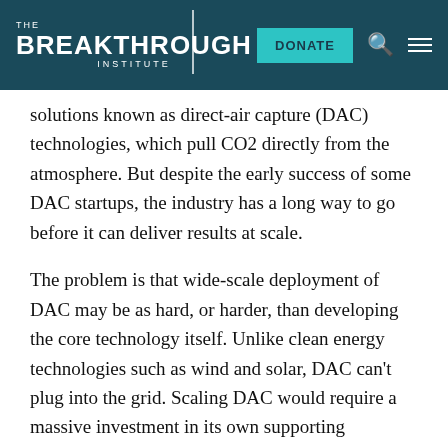THE BREAKTHROUGH INSTITUTE | DONATE
solutions known as direct-air capture (DAC) technologies, which pull CO2 directly from the atmosphere. But despite the early success of some DAC startups, the industry has a long way to go before it can deliver results at scale.
The problem is that wide-scale deployment of DAC may be as hard, or harder, than developing the core technology itself. Unlike clean energy technologies such as wind and solar, DAC can't plug into the grid. Scaling DAC would require a massive investment in its own supporting infrastructure: a new system of pipelines at a magnitude that could rival that of the United States Interstate System. To ensure scalable DAC, we need to take the policy implications seriously and chart a course